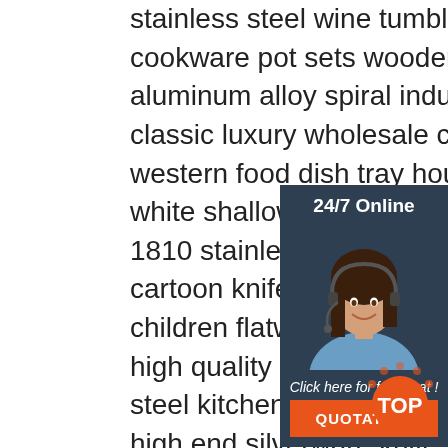stainless steel wine tumbler metal insulated coffee mug lid
cookware pot sets wooden handle sauce pan forged aluminum stone coating marble
aluminum alloy spiral induction bottom
classic luxury wholesale custom logo
western food dish tray household
white shallow service plates
1810 stainless steel cutlery kids set
cartoon knife fork spoon dishwasher
children flatware set
high quality non-slip insert handle stainless steel kitchenware sets skimmer ladle slotted turner spoon
high end silverware knife spoon fork set 1810
stainless steel cutlery set gold flatware set
high quality tri ply stainless steel cookware sets
[Figure (infographic): 24/7 Online chat widget overlay with female customer service representative photo, 'Click here for free chat!' text and orange QUOTATION button]
[Figure (other): Orange and grey TOP icon in bottom right corner]